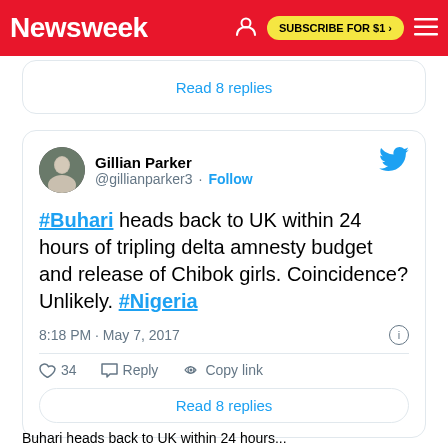Newsweek  SUBSCRIBE FOR $1 >
Read 8 replies
Gillian Parker @gillianparker3 · Follow

#Buhari heads back to UK within 24 hours of tripling delta amnesty budget and release of Chibok girls. Coincidence? Unlikely. #Nigeria

8:18 PM · May 7, 2017

♡ 34  Reply  Copy link

Read 8 replies
Buhari heads back to UK within 24 hours...